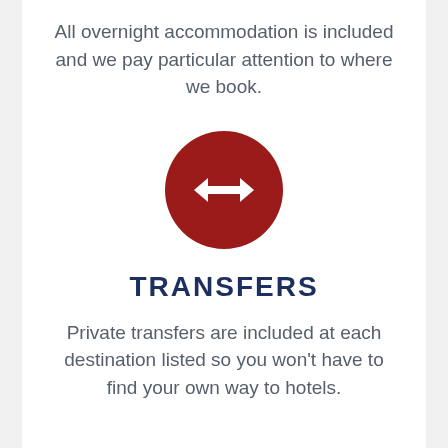All overnight accommodation is included and we pay particular attention to where we book.
[Figure (illustration): Dark red circle with a white double-headed horizontal arrow icon in the center, representing transfers.]
TRANSFERS
Private transfers are included at each destination listed so you won't have to find your own way to hotels.